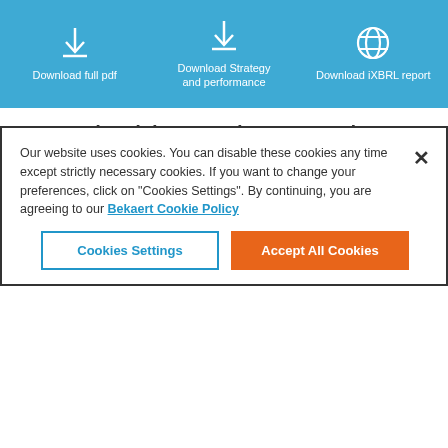Download full pdf | Download Strategy and performance | Download iXBRL report
Sustainable products and solutions
We aim to turn ideas into meaningful sustainable solutions that reduce the environmental footprint of our customers and end-markets. These include, among others:
Our website uses cookies. You can disable these cookies any time except strictly necessary cookies. If you want to change your preferences, click on "Cookies Settings". By continuing, you are agreeing to our Bekaert Cookie Policy
Cookies Settings | Accept All Cookies